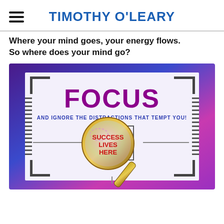TIMOTHY O'LEARY
Where your mind goes, your energy flows. So where does your mind go?
[Figure (infographic): A motivational infographic with a blue-purple gradient border and white interior. Large bold purple text reads 'FOCUS' at the top, below it in blue uppercase text 'AND IGNORE THE DISTRACTIONS THAT TEMPT YOU!'. A magnifying glass is centered on the image, with the lens highlighting a small box containing red text 'SUCCESS LIVES HERE'. The border has tick marks and corner brackets suggesting a targeting/viewfinder frame.]